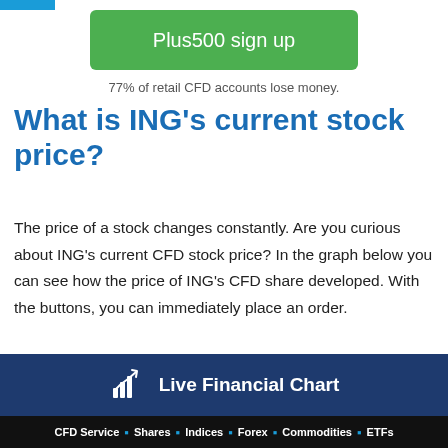[Figure (other): Plus500 sign up green button]
77% of retail CFD accounts lose money.
What is ING's current stock price?
The price of a stock changes constantly. Are you curious about ING's current CFD stock price? In the graph below you can see how the price of ING's CFD share developed. With the buttons, you can immediately place an order.
[Figure (other): Live Financial Chart banner with chart icon on dark blue background]
CFD Service · Shares · Indices · Forex · Commodities · ETFs